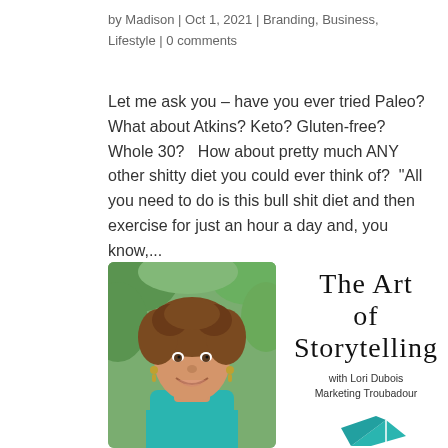by Madison | Oct 1, 2021 | Branding, Business, Lifestyle | 0 comments
Let me ask you – have you ever tried Paleo? What about Atkins? Keto? Gluten-free? Whole 30?   How about pretty much ANY other shitty diet you could ever think of?  “All you need to do is this bull shit diet and then exercise for just an hour a day and, you know,...
[Figure (photo): Headshot of a woman with curly brown hair, smiling, wearing a teal top, outdoors with green foliage background]
[Figure (logo): The Art of Storytelling with Lori Dubois Marketing Troubadour logo in script font with a teal book graphic]